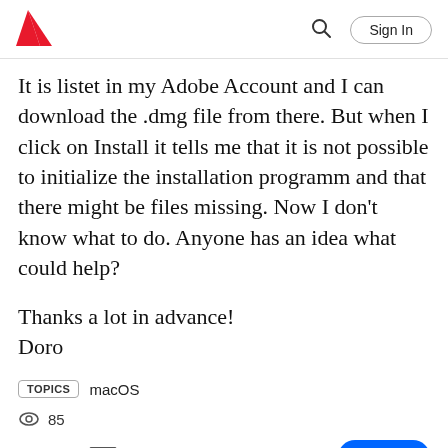Adobe | Sign In
It is listet in my Adobe Account and I can download the .dmg file from there. But when I click on Install it tells me that it is not possible to initialize the installation programm and that there might be files missing. Now I don't know what to do. Anyone has an idea what could help?
Thanks a lot in advance!
Doro
TOPICS  macOS
85
Like  Translate  ...  Reply